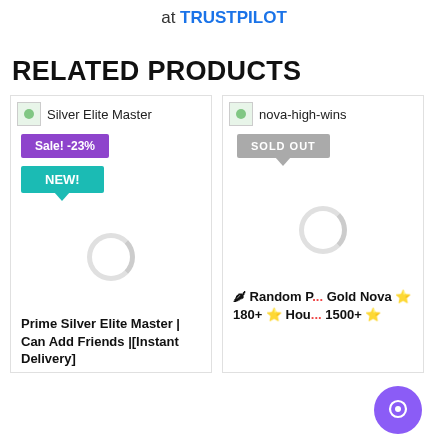at TRUSTPILOT
RELATED PRODUCTS
[Figure (screenshot): Product card for 'Silver Elite Master' with Sale -23% badge in purple and NEW! badge in teal, with circular loading spinner]
Prime Silver Elite Master | Can Add Friends |[Instant Delivery]
[Figure (screenshot): Product card for 'nova-high-wins' with SOLD OUT badge in grey, with circular loading spinner]
🌶 Random P... Gold Nova ⭐ 180+ ⭐ Hou... 1500+ ⭐